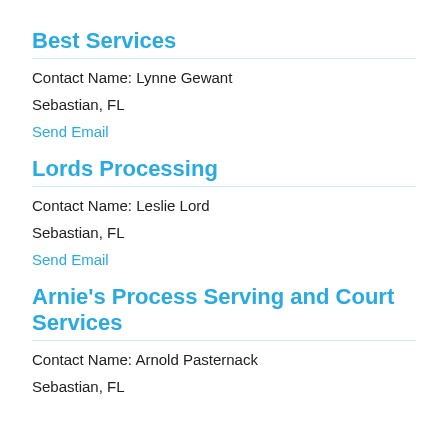Best Services
Contact Name: Lynne Gewant
Sebastian, FL
Send Email
Lords Processing
Contact Name: Leslie Lord
Sebastian, FL
Send Email
Arnie's Process Serving and Court Services
Contact Name: Arnold Pasternack
Sebastian, FL